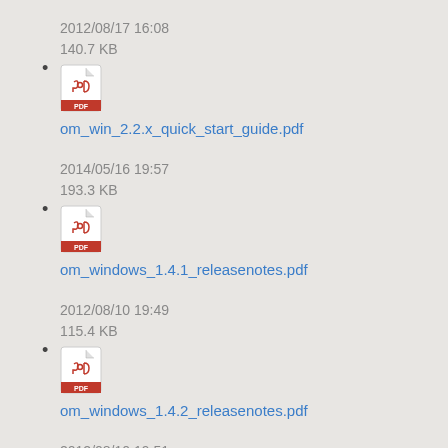2012/08/17 16:08
140.7 KB
om_win_2.2.x_quick_start_guide.pdf
2014/05/16 19:57
193.3 KB
om_windows_1.4.1_releasenotes.pdf
2012/08/10 19:49
115.4 KB
om_windows_1.4.2_releasenotes.pdf
2012/08/10 19:51
73.1 KB